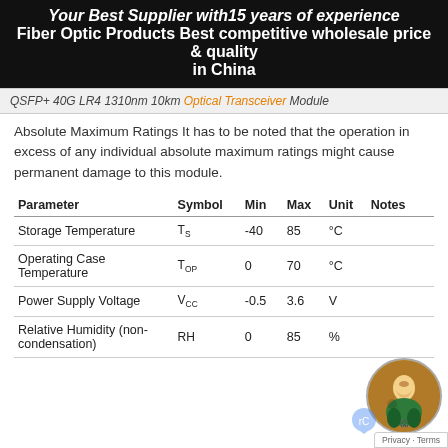Your Best Supplier with15 years of experience
Fiber Optic Products Best competitive wholesale price & quality in China
QSFP+ 40G LR4 1310nm 10km Optical Transceiver Module
Absolute Maximum Ratings It has to be noted that the operation in excess of any individual absolute maximum ratings might cause permanent damage to this module.
| Parameter | Symbol | Min | Max | Unit | Notes |
| --- | --- | --- | --- | --- | --- |
| Storage Temperature | TS | -40 | 85 | °C |  |
| Operating Case Temperature | TOP | 0 | 70 | °C |  |
| Power Supply Voltage | VCC | -0.5 | 3.6 | V |  |
| Relative Humidity (non-condensation) | RH | 0 | 85 | % |  |